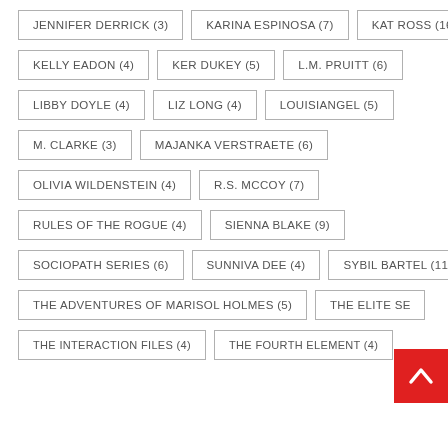JENNIFER DERRICK (3)
KARINA ESPINOSA (7)
KAT ROSS (16)
KELLY EADON (4)
KER DUKEY (5)
L.M. PRUITT (6)
LIBBY DOYLE (4)
LIZ LONG (4)
LOUISIANGEL (5)
M. CLARKE (3)
MAJANKA VERSTRAETE (6)
OLIVIA WILDENSTEIN (4)
R.S. MCCOY (7)
RULES OF THE ROGUE (4)
SIENNA BLAKE (9)
SOCIOPATH SERIES (6)
SUNNIVA DEE (4)
SYBIL BARTEL (11)
THE ADVENTURES OF MARISOL HOLMES (5)
THE ELITE SE[RIES]
THE INTERACTION FILES (4)
THE FOURTH ELEMENT (4)